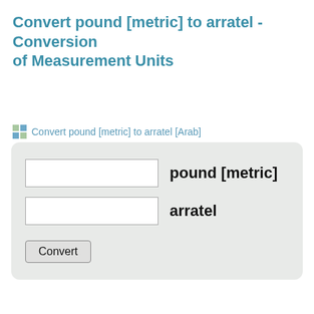Convert pound [metric] to arratel - Conversion of Measurement Units
Convert pound [metric] to arratel [Arab]
[Figure (screenshot): A unit conversion form with two text input fields labeled 'pound [metric]' and 'arratel', and a 'Convert' button, displayed on a light gray rounded rectangle background.]